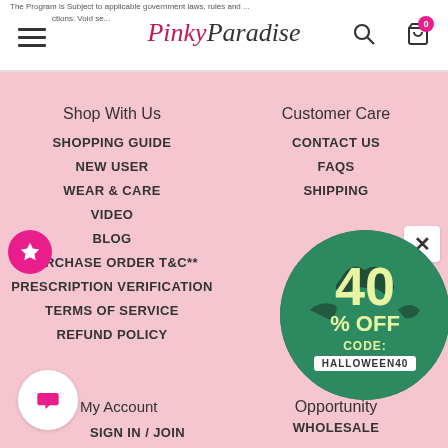The Program is Subject to applicable government laws, rules and restrictions. Void se...
[Figure (screenshot): PinkyParadise website header with hamburger menu, logo, search icon, cart icon with badge 0]
Shop With Us
SHOPPING GUIDE
NEW USER
WEAR & CARE
VIDEO
BLOG
PURCHASE ORDER T&C**
PRESCRIPTION VERIFICATION
TERMS OF SERVICE
REFUND POLICY
Customer Care
CONTACT US
FAQS
SHIPPING
[Figure (infographic): Halloween promotion circular badge showing 40% OFF CODE: HALLOWEEN40 with dark Halloween themed background]
My Account
Opportunity
SIGN IN / JOIN
WHOLESALE